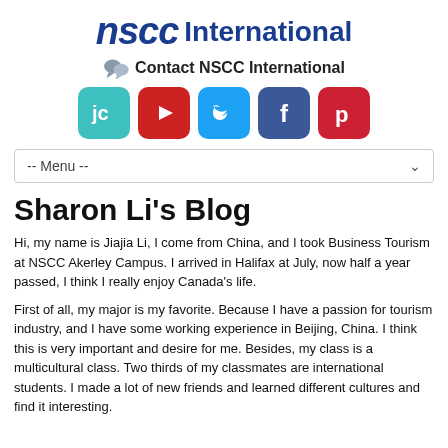[Figure (logo): NSCC International logo with blue bold italic 'nscc' text and bold 'International' text]
Contact NSCC International
[Figure (infographic): Row of 5 social media icons: JC (teal), YouTube (red), Twitter (blue), Facebook (dark blue), Pinterest (red)]
-- Menu --
Sharon Li’s Blog
Hi, my name is Jiajia Li, I come from China, and I took Business Tourism at NSCC Akerley Campus. I arrived in Halifax at July, now half a year passed, I think I really enjoy Canada’s life.
First of all, my major is my favorite. Because I have a passion for tourism industry, and I have some working experience in Beijing, China. I think this is very important and desire for me. Besides, my class is a multicultural class. Two thirds of my classmates are international students. I made a lot of new friends and learned different cultures and find it interesting.